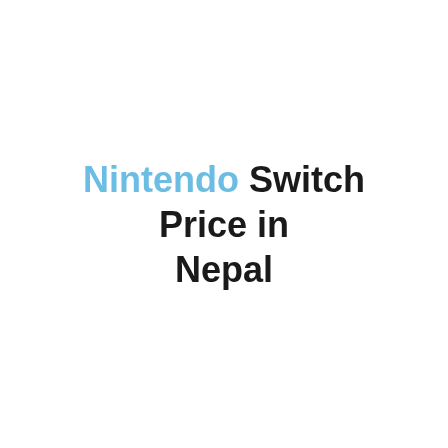Nintendo Switch Price in Nepal